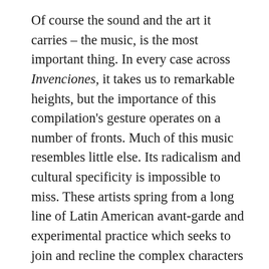Of course the sound and the art it carries – the music, is the most important thing. In every case across Invenciones, it takes us to remarkable heights, but the importance of this compilation's gesture operates on a number of fronts. Much of this music resembles little else. Its radicalism and cultural specificity is impossible to miss. These artists spring from a long line of Latin American avant-garde and experimental practice which seeks to join and recline the complex characters and cultures of their respective countries, particularly the dynamics of European and ingenious sonic creativity. They are a melding of the present, future, and past – the wildest ends of the avant-garde and the countercultures of the day. The results are among of the most innovative realizations of popular music that you're likely to